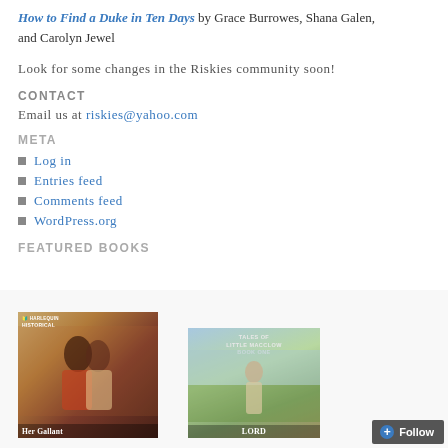How to Find a Duke in Ten Days by Grace Burrowes, Shana Galen, and Carolyn Jewel
Look for some changes in the Riskies community soon!
CONTACT
Email us at riskies@yahoo.com
META
Log in
Entries feed
Comments feed
WordPress.org
FEATURED BOOKS
[Figure (photo): Two book covers side by side: 'Her Gallant' (Harlequin Historical romance cover with couple) and 'Lord' (Tales of Little Macclow Book One, countryside scene with figure)]